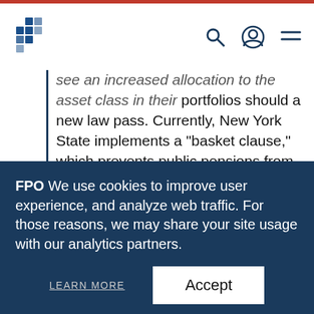[Figure (logo): Blue mosaic/grid logo mark in top left nav]
see an increased allocation to the asset class in their portfolios should a new law pass. Currently, New York State implements a “basket clause,” which prevents public pensions from investing above 25% of their total portfolios in investments considered higher risk, including real estate, infrastructure, hedge funds, international equities, and private equity. The proposed law would increase that allocation to 35% for all pension funds in the state. If the law passed, the boards of New York City’s five
FPO We use cookies to improve user experience, and analyze web traffic. For those reasons, we may share your site usage with our analytics partners.
LEARN MORE
Accept